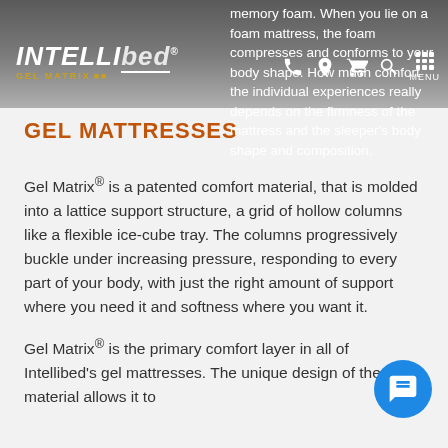memory foam. When you lie on a foam mattress, the foam compresses and conforms to your body shape. How much comfort the individual experiences really depends on the firmness of the mattress and the sleeper's body shape and composition.
GEL MATTRESSES
Gel Matrix® is a patented comfort material, that is molded into a lattice support structure, a grid of hollow columns like a flexible ice-cube tray. The columns progressively buckle under increasing pressure, responding to every part of your body, with just the right amount of support where you need it and softness where you want it.
Gel Matrix® is the primary comfort layer in all of Intellibed's gel mattresses. The unique design of the material allows it to